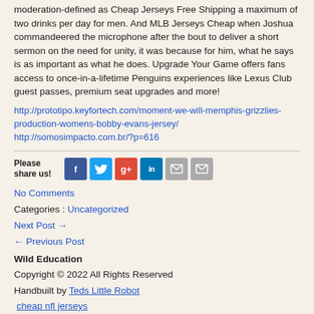moderation-defined as Cheap Jerseys Free Shipping a maximum of two drinks per day for men. And MLB Jerseys Cheap when Joshua commandeered the microphone after the bout to deliver a short sermon on the need for unity, it was because for him, what he says is as important as what he does. Upgrade Your Game offers fans access to once-in-a-lifetime Penguins experiences like Lexus Club guest passes, premium seat upgrades and more!
http://prototipo.keyfortech.com/moment-we-will-memphis-grizzlies-production-womens-bobby-evans-jersey/ http://somosimpacto.com.br/?p=616
Please share us! [social icons: Facebook, Twitter, Google+, LinkedIn, Email, Email2]
No Comments
Categories : Uncategorized
Next Post →
← Previous Post
Wild Education
Copyright © 2022 All Rights Reserved
Handbuilt by Teds Little Robot
 cheap nfl jerseys